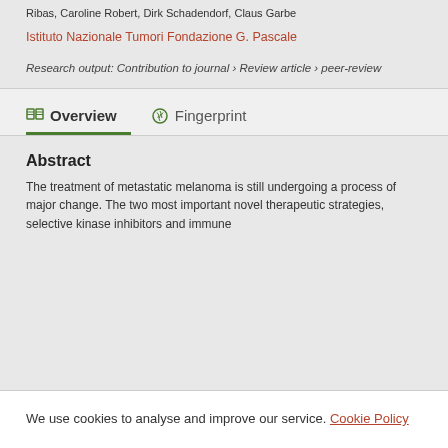Ribas, Caroline Robert, Dirk Schadendorf, Claus Garbe
Istituto Nazionale Tumori Fondazione G. Pascale
Research output: Contribution to journal › Review article › peer-review
Overview
Fingerprint
Abstract
The treatment of metastatic melanoma is still undergoing a process of major change. The two most important novel therapeutic strategies, selective kinase inhibitors and immune
We use cookies to analyse and improve our service. Cookie Policy